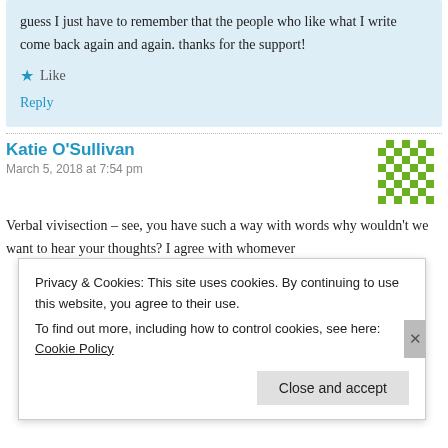guess I just have to remember that the people who like what I write come back again and again. thanks for the support!
★ Like
Reply
Katie O'Sullivan
March 5, 2018 at 7:54 pm
[Figure (illustration): Green pixel/mosaic avatar icon for Katie O'Sullivan]
Verbal vivisection – see, you have such a way with words why wouldn't we want to hear your thoughts? I agree with whomever
Privacy & Cookies: This site uses cookies. By continuing to use this website, you agree to their use.
To find out more, including how to control cookies, see here: Cookie Policy
Close and accept